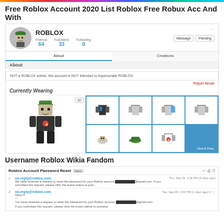Free Roblox Account 2020 List Roblox Free Robux Acc And With
[Figure (screenshot): Roblox profile page screenshot showing ROBLOX account with avatar, stats (Friends: 64, Followers: 33, Following: 0), About tab, about text, Currently Wearing section with 3D avatar and clothing items grid]
Username Roblox Wikia Fandom
[Figure (screenshot): Email screenshot showing Roblox Account Password Reset email thread with two messages from no-reply@roblox.com]